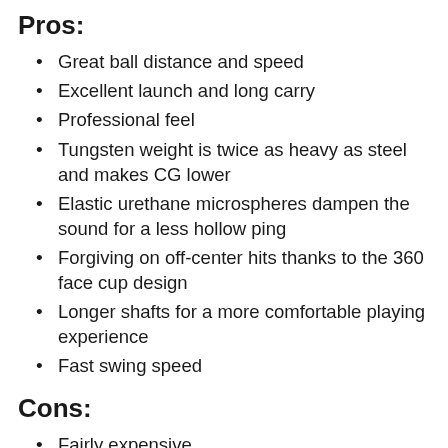Pros:
Great ball distance and speed
Excellent launch and long carry
Professional feel
Tungsten weight is twice as heavy as steel and makes CG lower
Elastic urethane microspheres dampen the sound for a less hollow ping
Forgiving on off-center hits thanks to the 360 face cup design
Longer shafts for a more comfortable playing experience
Fast swing speed
Cons:
Fairly expensive